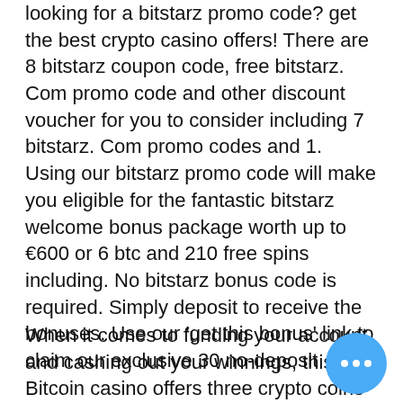looking for a bitstarz promo code? get the best crypto casino offers! There are 8 bitstarz coupon code, free bitstarz. Com promo code and other discount voucher for you to consider including 7 bitstarz. Com promo codes and 1. Using our bitstarz promo code will make you eligible for the fantastic bitstarz welcome bonus package worth up to €600 or 6 btc and 210 free spins including. No bitstarz bonus code is required. Simply deposit to receive the bonuses. Use our 'get this bonus' link to claim our exclusive 30 no-deposit
When it comes to funding your account and cashing out your winnings, this Bitcoin casino offers three crypto coins when you create your account. This is a small number of options compared to other crypto casinos, and we would have liked to have seen of the other major coins offered, such as Ethereum and Ripple, bitstarz promo code